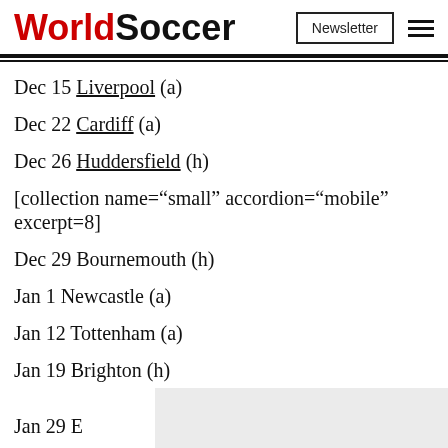WorldSoccer
Dec 15 Liverpool (a)
Dec 22 Cardiff (a)
Dec 26 Huddersfield (h)
[collection name="small" accordion="mobile" excerpt=8]
Dec 29 Bournemouth (h)
Jan 1 Newcastle (a)
Jan 12 Tottenham (a)
Jan 19 Brighton (h)
Jan 29 E[truncated]